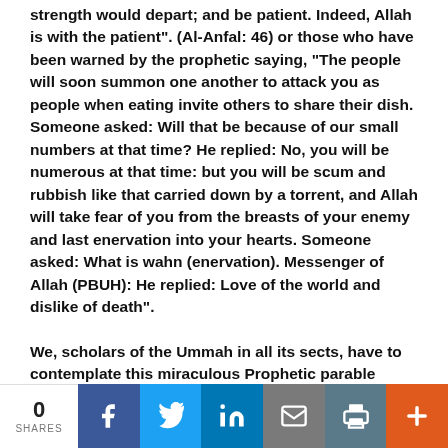strength would depart; and be patient. Indeed, Allah is with the patient". (Al-Anfal: 46) or those who have been warned by the prophetic saying, "The people will soon summon one another to attack you as people when eating invite others to share their dish. Someone asked: Will that be because of our small numbers at that time? He replied: No, you will be numerous at that time: but you will be scum and rubbish like that carried down by a torrent, and Allah will take fear of you from the breasts of your enemy and last enervation into your hearts. Someone asked: What is wahn (enervation). Messenger of Allah (PBUH): He replied: Love of the world and dislike of death".

We, scholars of the Ummah in all its sects, have to contemplate this miraculous Prophetic parable which
0 SHARES | Facebook | Twitter | LinkedIn | Email | Print | +